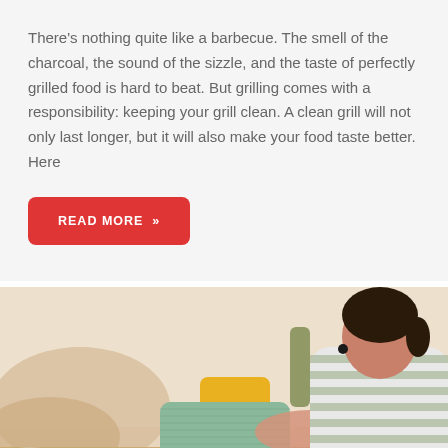There's nothing quite like a barbecue. The smell of the charcoal, the sound of the sizzle, and the taste of perfectly grilled food is hard to beat. But grilling comes with a responsibility: keeping your grill clean. A clean grill will not only last longer, but it will also make your food taste better. Here
READ MORE »
[Figure (photo): A woman in a striped long-sleeve shirt folding or handling neatly folded clothes (green and yellow fabric) on a table in a home setting with blurred background.]